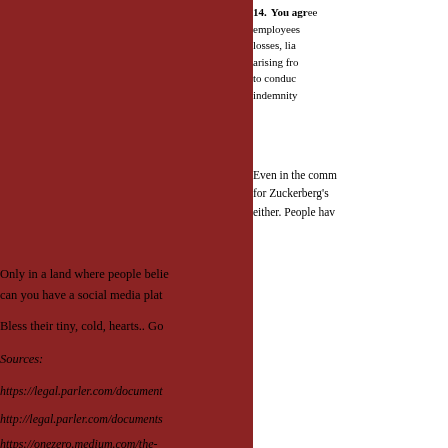14. You agree … employees … losses, liabilities … arising from … to conduct … indemnity…
Even in the comm… for Zuckerberg's … either. People hav…
Only in a land where people belie… can you have a social media plat…
Bless their tiny, cold, hearts.. Go…
Sources:
https://legal.parler.com/document…
http://legal.parler.com/documents…
https://onezero.medium.com/the-…